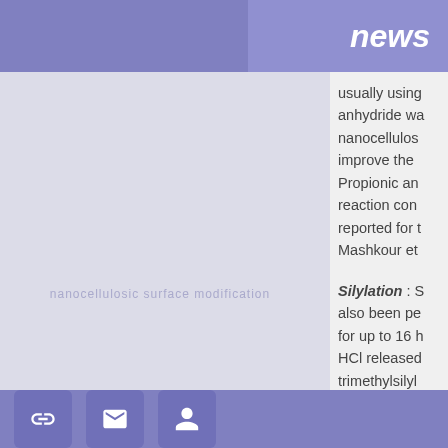news
usually using anhydride was nanocellulose improve the Propionic an reaction con reported for Mashkour et
Silylation : S also been pe for up to 16 h HCl released trimethylsilyl
link  mail  user